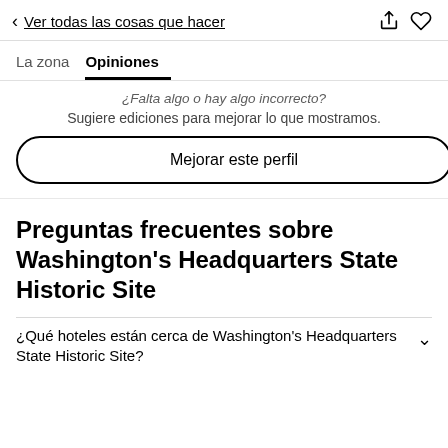< Ver todas las cosas que hacer
La zona   Opiniones
¿Falta algo o hay algo incorrecto?
Sugiere ediciones para mejorar lo que mostramos.
Mejorar este perfil
Preguntas frecuentes sobre Washington's Headquarters State Historic Site
¿Qué hoteles están cerca de Washington's Headquarters State Historic Site?